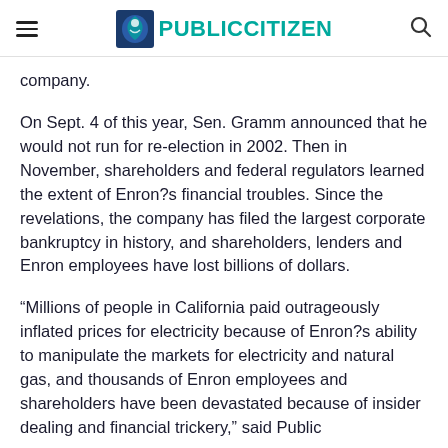Public Citizen
company.
On Sept. 4 of this year, Sen. Gramm announced that he would not run for re-election in 2002. Then in November, shareholders and federal regulators learned the extent of Enron?s financial troubles. Since the revelations, the company has filed the largest corporate bankruptcy in history, and shareholders, lenders and Enron employees have lost billions of dollars.
“Millions of people in California paid outrageously inflated prices for electricity because of Enron?s ability to manipulate the markets for electricity and natural gas, and thousands of Enron employees and shareholders have been devastated because of insider dealing and financial trickery,” said Public